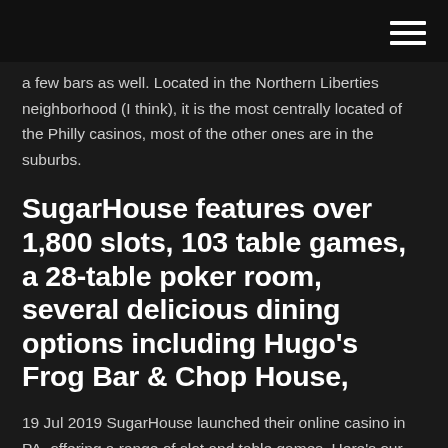a few bars as well. Located in the Northern Liberties neighborhood (I think), it is the most centrally located of the Philly casinos, most of the other ones are in the suburbs.
SugarHouse features over 1,800 slots, 103 table games, a 28-table poker room, several delicious dining options including Hugo's Frog Bar & Chop House,
19 Jul 2019 SugarHouse launched their online casino in PA, offering a range of slot and table games. Here's our review and how players can get a $250  SugarHouse features over 1,800 slots, 103 table games, a 28-table poker room, several